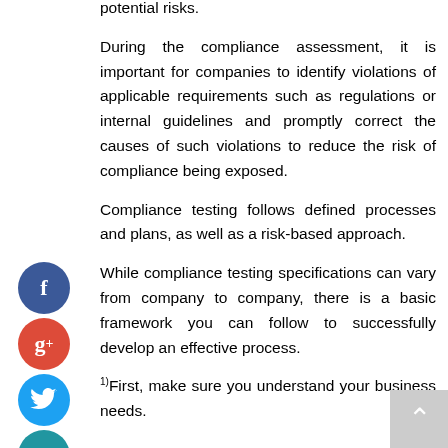potential risks.
During the compliance assessment, it is important for companies to identify violations of applicable requirements such as regulations or internal guidelines and promptly correct the causes of such violations to reduce the risk of compliance being exposed.
Compliance testing follows defined processes and plans, as well as a risk-based approach.
While compliance testing specifications can vary from company to company, there is a basic framework you can follow to successfully develop an effective process.
1) First, make sure you understand your business needs.